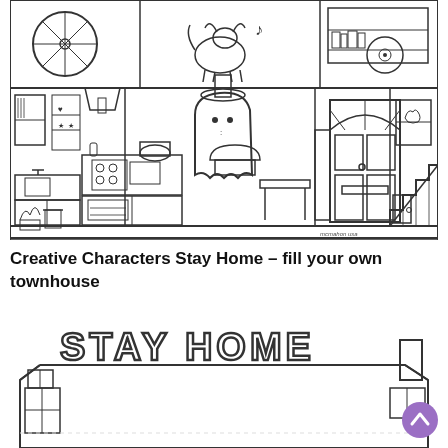[Figure (illustration): Black and white line drawing coloring page showing a cross-section of a townhouse with two floors. Upper floor shows a bicycle wheel, a dog with a music note, and a record player with bookshelf. Lower floor shows a kitchen with a ghost character holding a cupcake, a front door with fanlight window, and a staircase. Artist signature at bottom right.]
Creative Characters Stay Home – fill your own townhouse
[Figure (illustration): Black and white line drawing coloring page showing the front exterior of a townhouse/row house with a roof reading 'STAY HOME' in large outlined letters. The house has an empty interior space to fill in, with a chimney on the right and windows on the left side.]